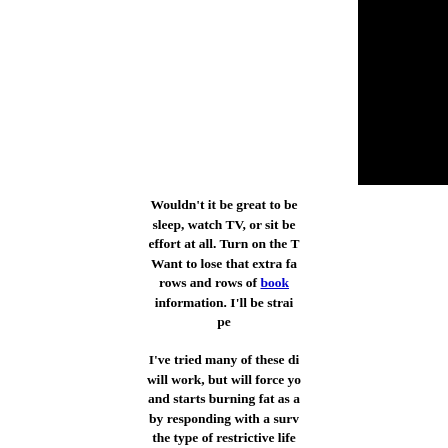[Figure (other): Black rectangle in upper right corner of page]
Wouldn't it be great to be able to sleep, watch TV, or sit be- effort at all. Turn on the TV and Want to lose that extra fa- rows and rows of books information. I'll be strai- pe-
I've tried many of these di- will work, but will force yo- and starts burning fat as a- by responding with a surv- the type of restrictive life that in 20 years from now path to fat loss is so simple